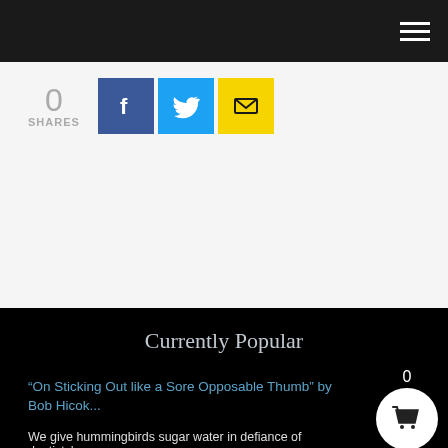Navigation bar with hamburger menu
[Figure (infographic): Social share buttons: 0 SHARES, Facebook (blue), Twitter (cyan), Email (yellow)]
Currently Popular
“On Sticking Out like a Sore Opposable Thumb” by Bob Hicok...
We give hummingbirds sugar water in defiance of dentists'